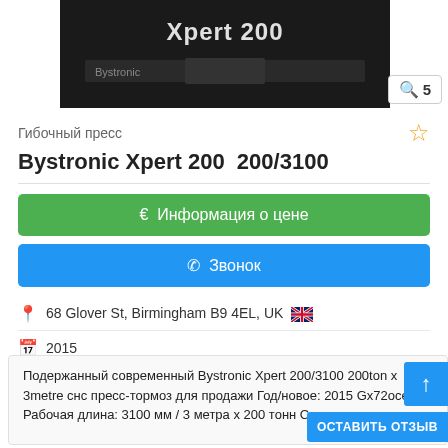[Figure (photo): Dark photo of Bystronic Xpert 200 machine with text overlay reading 'Xpert 200', with a zoom badge showing '5' in the bottom right corner]
Гибочный пресс
Bystronic Xpert 200  200/3100
€ Информация о цене
📞 Звонок
68 Glover St, Birmingham B9 4EL, UK 🇬🇧
2015
хорошее состояние (б/у)
Подержанный современный Bystronic Xpert 200/3100 200ton x 3metre снс пресс-тормоз для продажи Год/новое: 2015 Gx72осе Рабочая длина: 3100 мм / 3 метра x 200 тонн Сила нажатия: